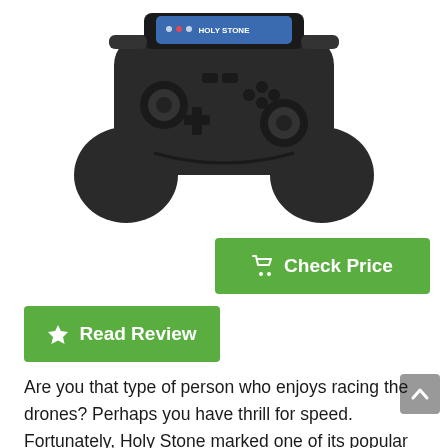[Figure (photo): Black drone gaming-style controller/remote with dual joysticks, buttons, and a small screen or phone mount at top. Brand 'Holy Stone' visible on the controller.]
[Figure (other): Green 'Check Price' button with shopping cart icon]
[Figure (other): Green 'Read Review' button with star icon]
Are you that type of person who enjoys racing the drones? Perhaps you have thrill for speed. Fortunately, Holy Stone marked one of its popular racing drone for special sale. Because they are running the special drone deals for a limited time only, it won't be that long before